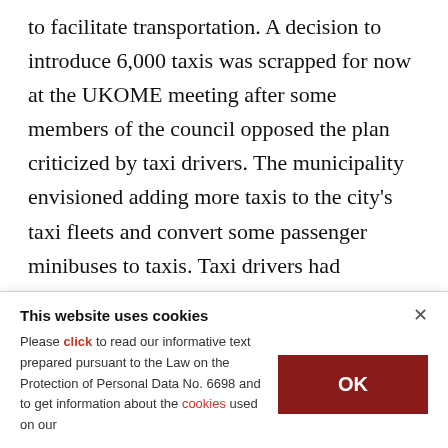to facilitate transportation. A decision to introduce 6,000 taxis was scrapped for now at the UKOME meeting after some members of the council opposed the plan criticized by taxi drivers. The municipality envisioned adding more taxis to the city's taxi fleets and convert some passenger minibuses to taxis. Taxi drivers had convened ahead of the meeting to protest the decision. They claim the plan would disrupt their business already suffering due to the COVID-19 pandemic.
This website uses cookies
Please click to read our informative text prepared pursuant to the Law on the Protection of Personal Data No. 6698 and to get information about the cookies used on our